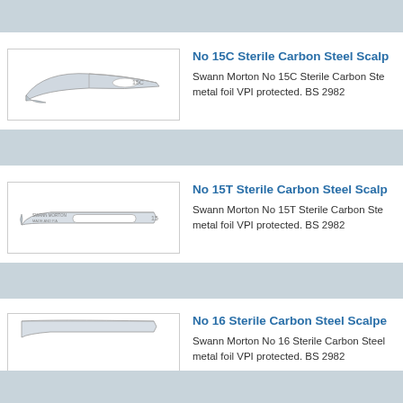[Figure (photo): Gray bar at top of page]
[Figure (photo): Swann Morton No 15C sterile carbon steel scalpel blade photograph]
No 15C Sterile Carbon Steel Scalp...
Swann Morton No 15C Sterile Carbon Ste... metal foil VPI protected. BS 2982
[Figure (photo): Gray bar separator]
[Figure (photo): Swann Morton No 15T sterile carbon steel scalpel blade photograph]
No 15T Sterile Carbon Steel Scalp...
Swann Morton No 15T Sterile Carbon Ste... metal foil VPI protected. BS 2982
[Figure (photo): Gray bar separator]
[Figure (photo): Swann Morton No 16 sterile carbon steel scalpel blade photograph (partial)]
No 16 Sterile Carbon Steel Scalpe...
Swann Morton No 16 Sterile Carbon Steel... metal foil VPI protected. BS 2982
[Figure (photo): Gray bar at bottom]